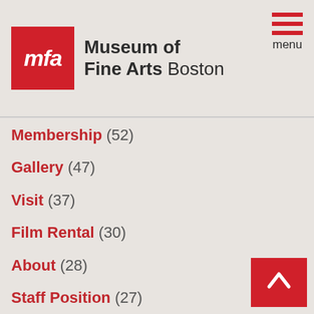[Figure (logo): Museum of Fine Arts Boston logo with red MFA box and museum name]
Membership (52)
Gallery (47)
Visit (37)
Film Rental (30)
About (28)
Staff Position (27)
Press (11)
Beyond the Gallery (8)
Employment (6)
Hardcover (3)
Product (1)